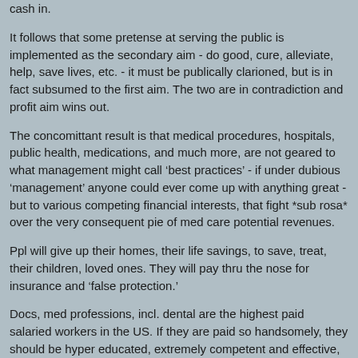cash in.
It follows that some pretense at serving the public is implemented as the secondary aim - do good, cure, alleviate, help, save lives, etc. - it must be publically clarioned, but is in fact subsumed to the first aim. The two are in contradiction and profit aim wins out.
The concomittant result is that medical procedures, hospitals, public health, medications, and much more, are not geared to what management might call ‘best practices’ - if under dubious ‘management’ anyone could ever come up with anything great - but to various competing financial interests, that fight *sub rosa* over the very consequent pie of med care potential revenues.
Ppl will give up their homes, their life savings, to save, treat, their children, loved ones. They will pay thru the nose for insurance and ‘false protection.’
Docs, med professions, incl. dental are the highest paid salaried workers in the US. If they are paid so handsomely, they should be hyper educated, extremely competent and effective, no? And loved by all? And have tremedous effect on ‘health’?
ex:
https://www.investopedia.com/personal-finance/top-highest-